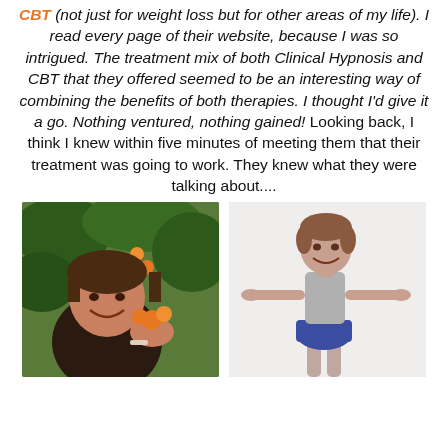CBT (not just for weight loss but for other areas of my life). I read every page of their website, because I was so intrigued. The treatment mix of both Clinical Hypnosis and CBT that they offered seemed to be an interesting way of combining the benefits of both therapies. I thought I'd give it a go. Nothing ventured, nothing gained! Looking back, I think I knew within five minutes of meeting them that their treatment was going to work. They knew what they were talking about....
[Figure (photo): Two side-by-side before and after photos: left photo shows a larger woman smiling outdoors holding something with orange flowers in background; right photo shows the same woman after weight loss, slimmer, wearing a grey tank top and blue skirt, arms outstretched, smiling against a white background.]